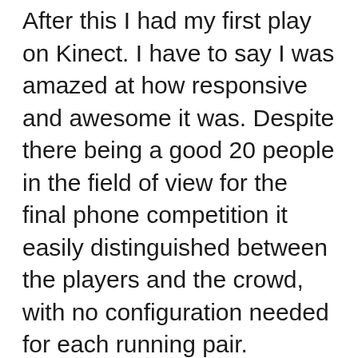After this I had my first play on Kinect. I have to say I was amazed at how responsive and awesome it was. Despite there being a good 20 people in the field of view for the final phone competition it easily distinguished between the players and the crowd, with no configuration needed for each running pair.
I played a far less energetic game of Table Tennis with Kris - it was a little different from playing the actual thing (playing face on), but great fun. I think there is some video footage of this - will add it once I can access it. Hardly any input lag and nothing incorrect. Awesome when you consider the work that must go into translating images into game input. Step aside Wii and Playstation Move. Kinect is the real thing (and I...